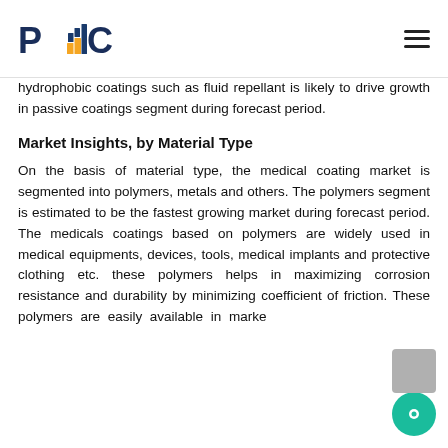PMC logo and navigation
hydrophobic coatings such as fluid repellant is likely to drive growth in passive coatings segment during forecast period.
Market Insights, by Material Type
On the basis of material type, the medical coating market is segmented into polymers, metals and others. The polymers segment is estimated to be the fastest growing market during forecast period. The medicals coatings based on polymers are widely used in medical equipments, devices, tools, medical implants and protective clothing etc. these polymers helps in maximizing corrosion resistance and durability by minimizing coefficient of friction. These polymers are easily available in market at low cost. This drives growth in polymers segment during